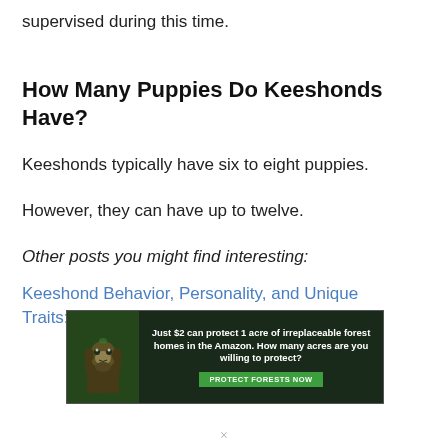supervised during this time.
How Many Puppies Do Keeshonds Have?
Keeshonds typically have six to eight puppies.
However, they can have up to twelve.
Other posts you might find interesting:
Keeshond Behavior, Personality, and Unique Traits: FAQs
[Figure (other): Advertisement banner: Just $2 can protect 1 acre of irreplaceable forest homes in the Amazon. How many acres are you willing to protect? PROTECT FORESTS NOW]
×